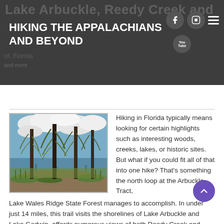HIKING THE APPALACHIANS AND BEYOND
[Figure (photo): Cypress trees with Spanish moss standing in a shallow lake/swamp with cloudy sky, Florida wetlands]
Hiking in Florida typically means looking for certain highlights such as interesting woods, creeks, lakes, or historic sites. But what if you could fit all of that into one hike? That's something the north loop at the Arbuckle Tract, Lake Wales Ridge State Forest manages to accomplish. In under just 14 miles, this trail visits the shorelines of Lake Arbuckle and Lake Godwin, affords numerous views of both Reedy Creek and Living nature